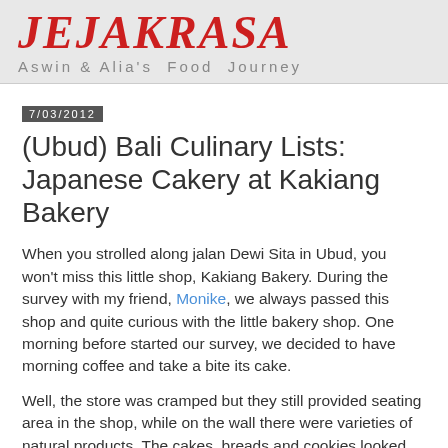JEJAKRASA — Aswin & Alia's Food Journey
7/03/2012
(Ubud) Bali Culinary Lists: Japanese Cakery at Kakiang Bakery
When you strolled along jalan Dewi Sita in Ubud, you won't miss this little shop, Kakiang Bakery. During the survey with my friend, Monike, we always passed this shop and quite curious with the little bakery shop. One morning before started our survey, we decided to have morning coffee and take a bite its cake.
Well, the store was cramped but they still provided seating area in the shop, while on the wall there were varieties of natural products. The cakes, breads and cookies looked delicious, it was mouthwatering, I decided to have my or...